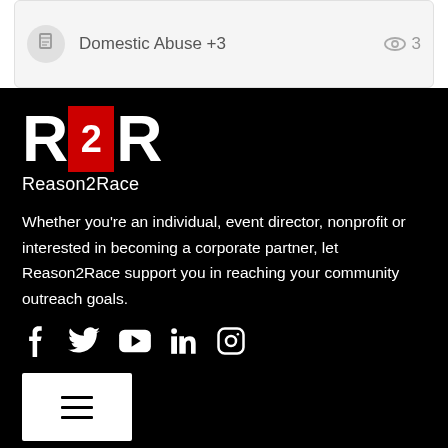Domestic Abuse +3   👁 3
[Figure (logo): R2R Reason2Race logo — large white R, red box with white 2, large white R, with 'Reason2Race' text below]
Whether you’re an individual, event director, nonprofit or interested in becoming a corporate partner, let Reason2Race support you in reaching your community outreach goals.
[Figure (infographic): Social media icons: Facebook, Twitter, YouTube, LinkedIn, Instagram]
[Figure (infographic): Hamburger menu button (three horizontal lines) on white background]